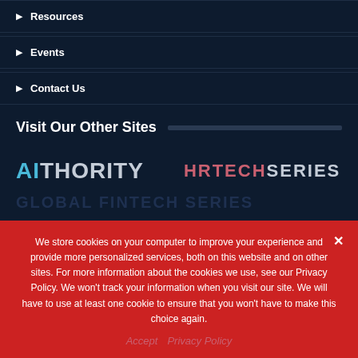▶ Resources
▶ Events
▶ Contact Us
Visit Our Other Sites
[Figure (logo): AITHORITY logo with 'AI' in cyan and 'THORITY' in light gray]
[Figure (logo): HRTECHSERIES logo with 'HR' in pink-red and 'TECHSERIES' in light gray]
GLOBAL FINTECH SERIES (partially visible)
We store cookies on your computer to improve your experience and provide more personalized services, both on this website and on other sites. For more information about the cookies we use, see our Privacy Policy. We won't track your information when you visit our site. We will have to use at least one cookie to ensure that you won't have to make this choice again.
Accept   Privacy Policy